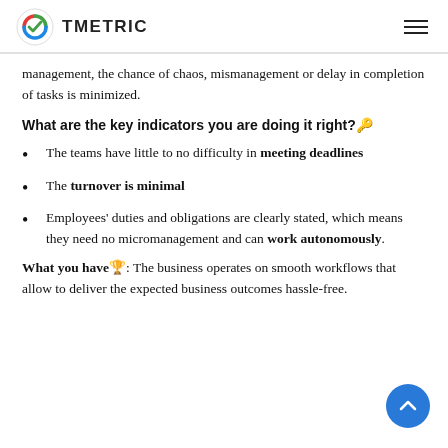TMETRIC
management, the chance of chaos, mismanagement or delay in completion of tasks is minimized.
What are the key indicators you are doing it right?🔑
The teams have little to no difficulty in meeting deadlines
The turnover is minimal
Employees' duties and obligations are clearly stated, which means they need no micromanagement and can work autonomously.
What you have🏆: The business operates on smooth workflows that allow to deliver the expected business outcomes hassle-free.